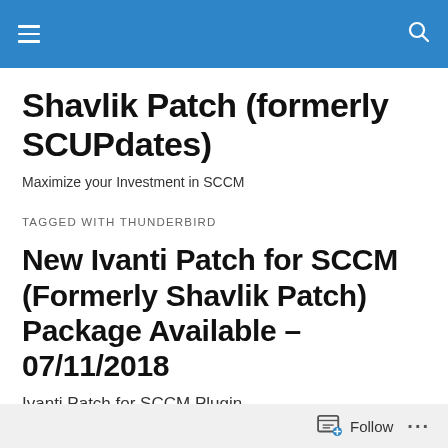Shavlik Patch (formerly SCUPdates)
Shavlik Patch (formerly SCUPdates)
Maximize your Investment in SCCM
TAGGED WITH THUNDERBIRD
New Ivanti Patch for SCCM (Formerly Shavlik Patch) Package Available – 07/11/2018
Ivanti Patch for SCCM Plugin